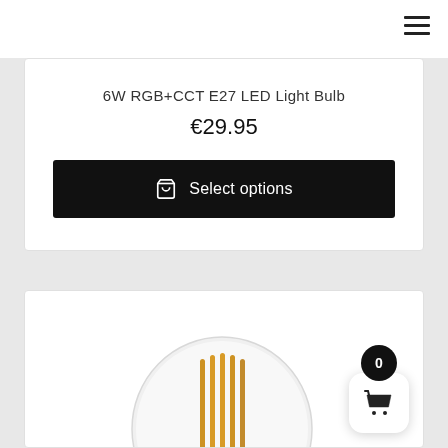6W RGB+CCT E27 LED Light Bulb
€29.95
Select options
[Figure (photo): A clear glass LED filament light bulb with visible warm-orange filaments arranged vertically inside a round globe-shaped bulb, photographed on white background.]